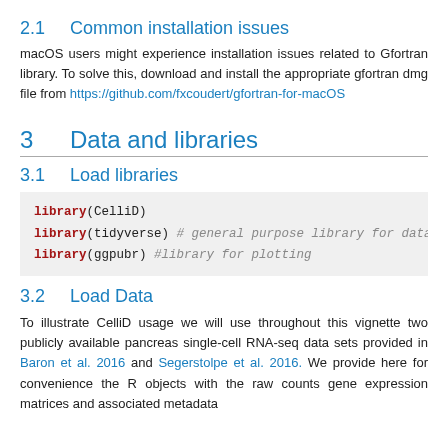2.1   Common installation issues
macOS users might experience installation issues related to Gfortran library. To solve this, download and install the appropriate gfortran dmg file from https://github.com/fxcoudert/gfortran-for-macOS
3   Data and libraries
3.1   Load libraries
library(CelliD)
library(tidyverse) # general purpose library for data ha...
library(ggpubr) #library for plotting
3.2   Load Data
To illustrate CelliD usage we will use throughout this vignette two publicly available pancreas single-cell RNA-seq data sets provided in Baron et al. 2016 and Segerstolpe et al. 2016. We provide here for convenience the R objects with the raw counts gene expression matrices and associated metadata